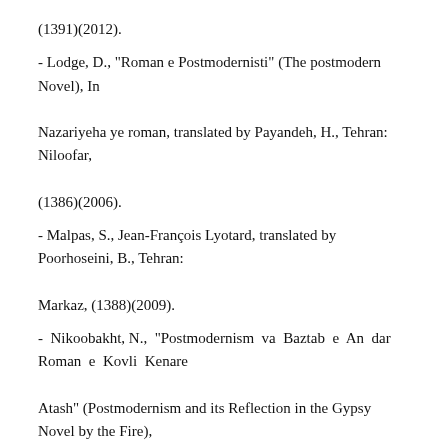(1391)(2012).
- Lodge, D., "Roman e Postmodernisti" (The postmodern Novel), In Nazariyeha ye roman, translated by Payandeh, H., Tehran: Niloofar, (1386)(2006).
- Malpas, S., Jean-François Lyotard, translated by Poorhoseini, B., Tehran: Markaz, (1388)(2009).
- Nikoobakht, N., “Postmodernism va Baztab e An dar Roman e Kovli Kenare Atash” (Postmodernism and its Reflection in the Gypsy Novel by the Fire), Nashriye ye Daneshkade ye Adabiyat vaOloom e Ensani, No 10, 163-167, (1384)(2005).
- Nobaxt, M., “Chand sedayi va Chand Shakhsiyati dar Roman e Pasamodern…” ( Polyphony and Poly-Subjectivity in Iranian Postmodern Novel; A Study of Asfar-e Kateban by Abutorab-e Khosravi),